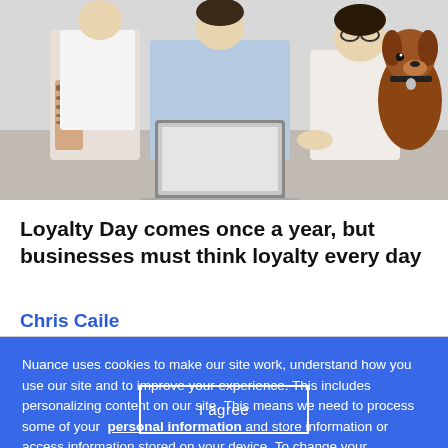[Figure (photo): Three people sitting together with a dog, one person using a laptop. Office or casual workspace setting.]
Loyalty Day comes once a year, but businesses must think loyalty every day
Chris Caile
Nuance uses cookies to make our site work, understand how you use our site and to improve your experience. This includes personalizing content on our site. This means we need to process some of your personal information and store information or access information stored on your device. To change your preferences or to learn more, click Cookie Notice.
I agree